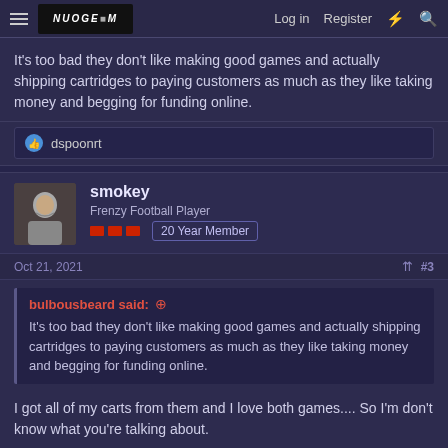Log in  Register
It's too bad they don't like making good games and actually shipping cartridges to paying customers as much as they like taking money and begging for funding online.
👍 dspoonrt
smokey
Frenzy Football Player
20 Year Member
Oct 21, 2021  #3
bulbousbeard said: ⊕
It's too bad they don't like making good games and actually shipping cartridges to paying customers as much as they like taking money and begging for funding online.
I got all of my carts from them and I love both games.... So I'm don't know what you're talking about.